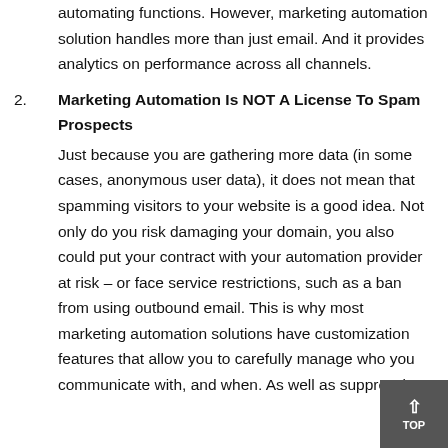automating functions. However, marketing automation solution handles more than just email. And it provides analytics on performance across all channels.
2. Marketing Automation Is NOT A License To Spam Prospects
Just because you are gathering more data (in some cases, anonymous user data), it does not mean that spamming visitors to your website is a good idea. Not only do you risk damaging your domain, you also could put your contract with your automation provider at risk – or face service restrictions, such as a ban from using outbound email. This is why most marketing automation solutions have customization features that allow you to carefully manage who you communicate with, and when. As well as suppression